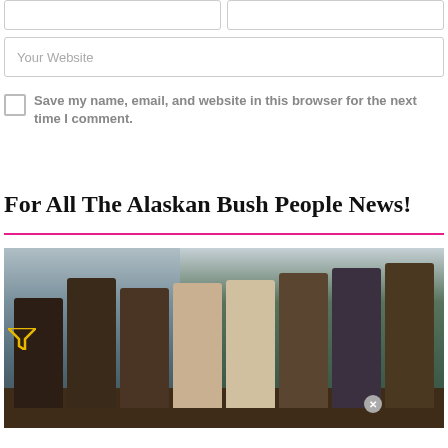[Figure (screenshot): Two empty form input fields side by side (Name and Email placeholders) at the top of page]
Your Website
Save my name, email, and website in this browser for the next time I comment.
POST COMMENT
For All The Alaskan Bush People News!
[Figure (photo): Group photo of the Alaskan Bush People cast standing outdoors with trees and water in background]
[Figure (screenshot): Advertisement banner for HEADERBIDDING.COM - Your source for all things programmatic advertising.]